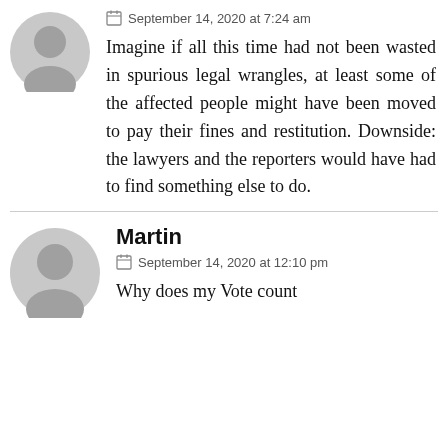September 14, 2020 at 7:24 am
Imagine if all this time had not been wasted in spurious legal wrangles, at least some of the affected people might have been moved to pay their fines and restitution. Downside: the lawyers and the reporters would have had to find something else to do.
Martin
September 14, 2020 at 12:10 pm
Why does my Vote count